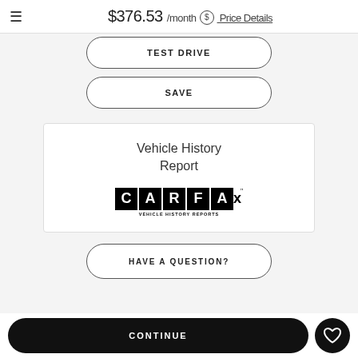$376.53 /month $ Price Details
TEST DRIVE
SAVE
[Figure (logo): CARFAX Vehicle History Reports logo with text 'Vehicle History Report' above it]
HAVE A QUESTION?
CONTINUE